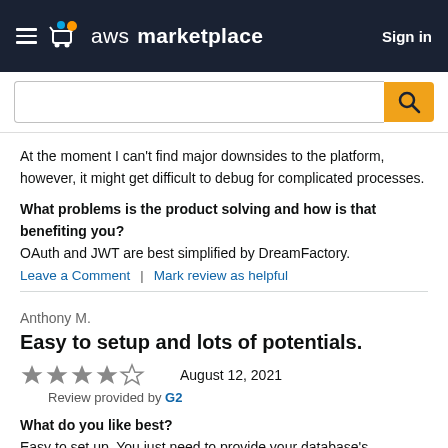[Figure (screenshot): AWS Marketplace navigation bar with hamburger menu, cart icon, aws marketplace logo, and Sign in button on dark navy background]
[Figure (screenshot): Search bar with white input field and orange search button with magnifying glass icon]
At the moment I can't find major downsides to the platform, however, it might get difficult to debug for complicated processes.
What problems is the product solving and how is that benefiting you?
OAuth and JWT are best simplified by DreamFactory.
Leave a Comment | Mark review as helpful
Anthony M.
Easy to setup and lots of potentials.
4 stars   August 12, 2021
Review provided by G2
What do you like best?
Easy to set up. You just need to provide your database's connection info, and you can create an API within minutes. Also